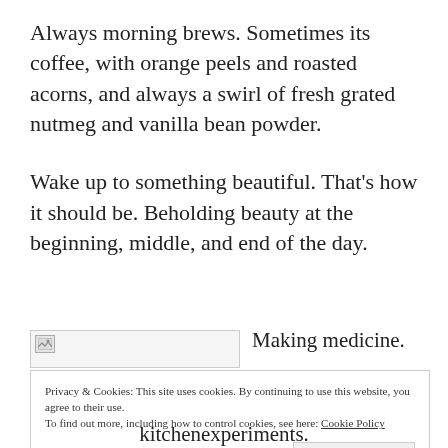Always morning brews.  Sometimes its coffee, with orange peels and roasted acorns, and always a swirl of fresh grated nutmeg and vanilla bean powder.
Wake up to something beautiful. That's how it should be.  Beholding beauty at the beginning, middle, and end of the day.
[Figure (other): Broken image placeholder (image failed to load)]
Making medicine.
Privacy & Cookies: This site uses cookies. By continuing to use this website, you agree to their use.
To find out more, including how to control cookies, see here: Cookie Policy
Close and accept
kitchenexperiments.